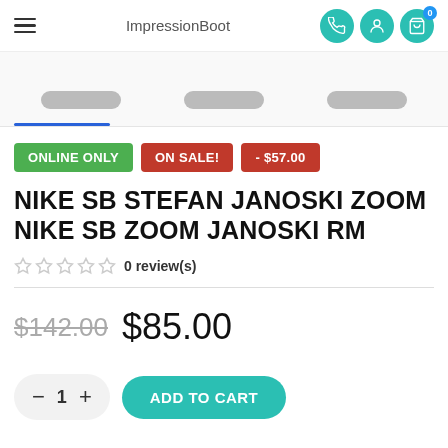ImpressionBoot
[Figure (photo): Three shoe thumbnail images in a carousel strip, with a blue underline indicator below the first thumbnail]
ONLINE ONLY | ON SALE! | - $57.00
NIKE SB STEFAN JANOSKI ZOOM NIKE SB ZOOM JANOSKI RM
0 review(s)
$142.00  $85.00
- 1 +  ADD TO CART